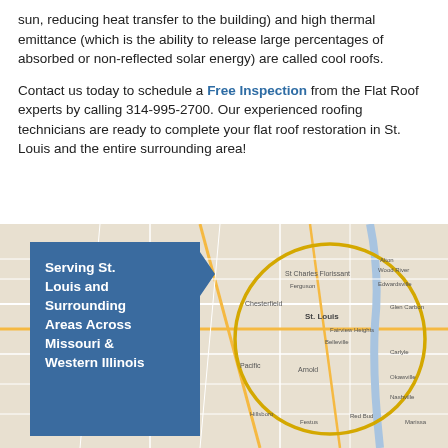sun, reducing heat transfer to the building) and high thermal emittance (which is the ability to release large percentages of absorbed or non-reflected solar energy) are called cool roofs.
Contact us today to schedule a Free Inspection from the Flat Roof experts by calling 314-995-2700. Our experienced roofing technicians are ready to complete your flat roof restoration in St. Louis and the entire surrounding area!
[Figure (map): A map of the St. Louis area with a blue overlay box on the left reading 'Serving St. Louis and Surrounding Areas Across Missouri & Western Illinois' with a yellow circle highlighting the St. Louis metro region on the map.]